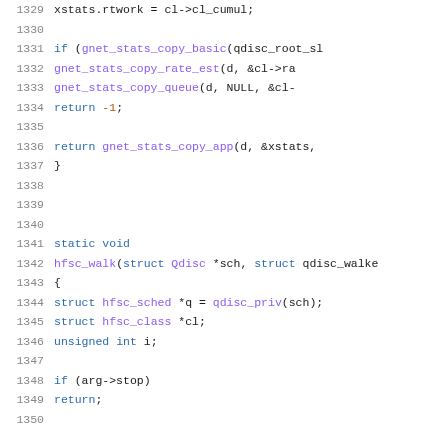Source code listing lines 1329-1350, C programming language, hfsc network scheduler implementation